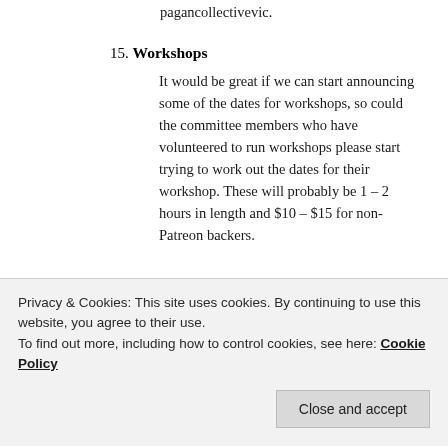pagancollectivevic.
15. Workshops
It would be great if we can start announcing some of the dates for workshops, so could the committee members who have volunteered to run workshops please start trying to work out the dates for their workshop. These will probably be 1 – 2 hours in length and $10 – $15 for non-Patreon backers.
16. Chat Bots
Ryan is investigating chat bots with involves direct engagement content with users. He is currently learning about how to use them and will run it when this gets off the ground.
Privacy & Cookies: This site uses cookies. By continuing to use this website, you agree to their use.
To find out more, including how to control cookies, see here: Cookie Policy
the language on our website and social media to make it